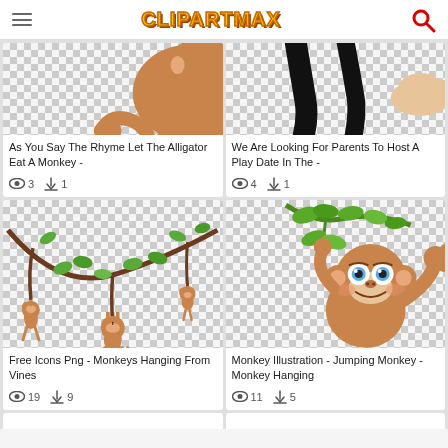CLIPARTMAX
[Figure (illustration): Partial view of a brown monkey/alligator clipart with checkered background]
As You Say The Rhyme Let The Alligator Eat A Monkey -
3 views, 1 download
[Figure (illustration): Partial view of a black cartoon arm/limb with beige hand on checkered background]
We Are Looking For Parents To Host A Play Date In The -
4 views, 1 download
[Figure (illustration): Cartoon monkeys hanging from vines with green leaves on checkered background]
Free Icons Png - Monkeys Hanging From Vines
19 views, 9 downloads
[Figure (illustration): Cute cartoon monkey holding green vine with leaves on checkered background]
Monkey Illustration - Jumping Monkey - Monkey Hanging
11 views, 5 downloads